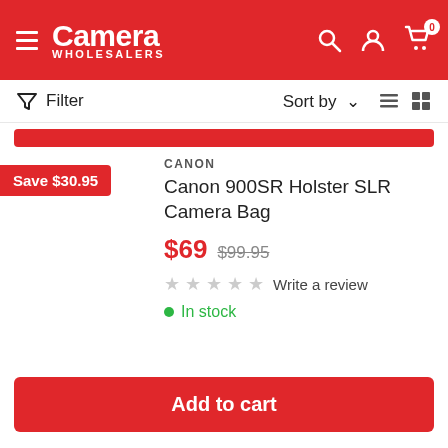Camera Wholesalers
Filter  Sort by
[Figure (screenshot): Partial red Add to cart button from product above]
Save $30.95
CANON
Canon 900SR Holster SLR Camera Bag
$69  $99.95
Write a review
In stock
Add to cart